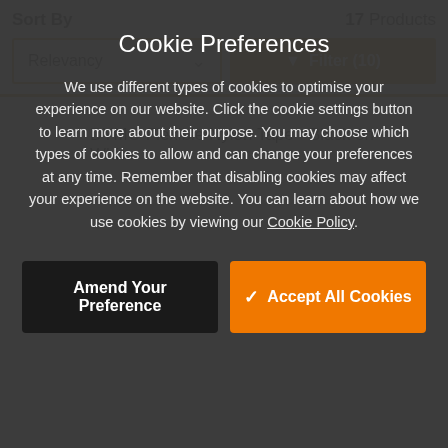Sort By    17 Products
Relevancy  ∨   ▼ Filter (10)
DYMO Flexible Nylon Tape - Black on White
Cookie Preferences
We use different types of cookies to optimise your experience on our website. Click the cookie settings button to learn more about their purpose. You may choose which types of cookies to allow and can change your preferences at any time. Remember that disabling cookies may affect your experience on the website. You can learn about how we use cookies by viewing our Cookie Policy.
Amend Your Preference
✓ Accept All Cookies